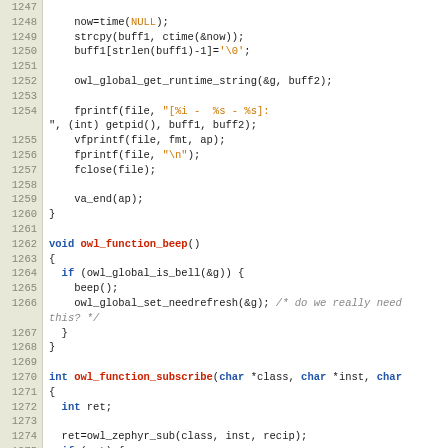[Figure (screenshot): Source code listing in C, lines 1247 to 1277, showing functions including owl_function_beep and owl_function_subscribe with syntax highlighting]